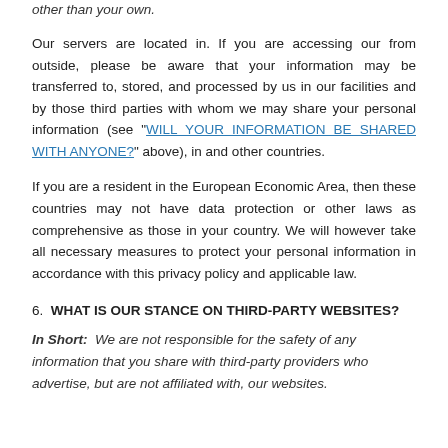other than your own.
Our servers are located in. If you are accessing our from outside, please be aware that your information may be transferred to, stored, and processed by us in our facilities and by those third parties with whom we may share your personal information (see "WILL YOUR INFORMATION BE SHARED WITH ANYONE?" above), in and other countries.
If you are a resident in the European Economic Area, then these countries may not have data protection or other laws as comprehensive as those in your country. We will however take all necessary measures to protect your personal information in accordance with this privacy policy and applicable law.
6. WHAT IS OUR STANCE ON THIRD-PARTY WEBSITES?
In Short: We are not responsible for the safety of any information that you share with third-party providers who advertise, but are not affiliated with, our websites.